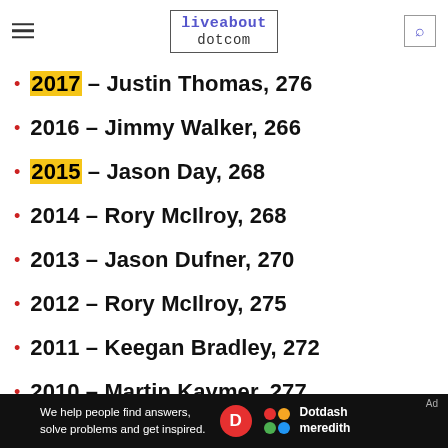liveabout dotcom
2017 - Justin Thomas, 276
2016 - Jimmy Walker, 266
2015 - Jason Day, 268
2014 - Rory McIlroy, 268
2013 - Jason Dufner, 270
2012 - Rory McIlroy, 275
2011 - Keegan Bradley, 272
2010 - Martin Kaymer, 277
2009 - Y.E. Yang, 280
[Figure (infographic): Dotdash Meredith advertisement banner: 'We help people find answers, solve problems and get inspired.' with Dotdash Meredith logo]